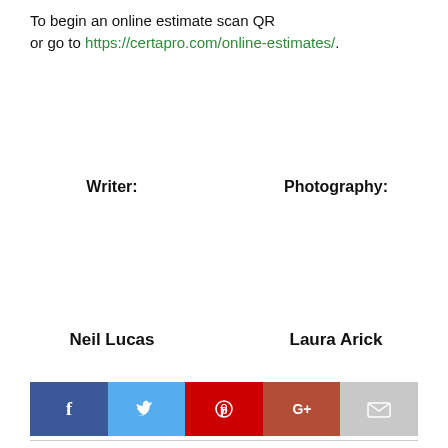To begin an online estimate scan QR
or go to https://certapro.com/online-estimates/.
Writer:
Neil Lucas
Photography:
Laura Arick
[Figure (other): Social sharing bar with Facebook, Twitter, Pinterest, Google+, and Email icons]